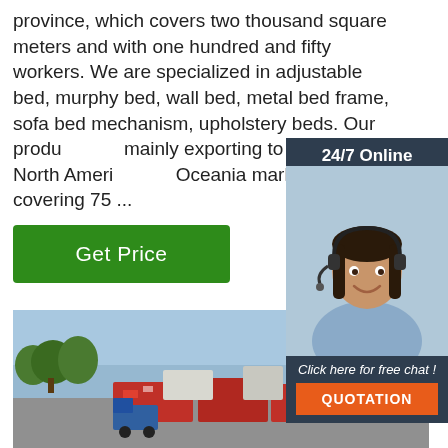province, which covers two thousand square meters and with one hundred and fifty workers. We are specialized in adjustable bed, murphy bed, wall bed, metal bed frame, sofa bed mechanism, upholstery beds. Our products mainly exporting to Europe, North America, Oceania markets, covering 75 ...
Get Price
[Figure (infographic): 24/7 Online chat widget with woman wearing headset, dark navy background, 'Click here for free chat!' text, and orange QUOTATION button]
[Figure (photo): Factory exterior photo showing industrial machinery and equipment in an outdoor yard with trees and buildings in the background]